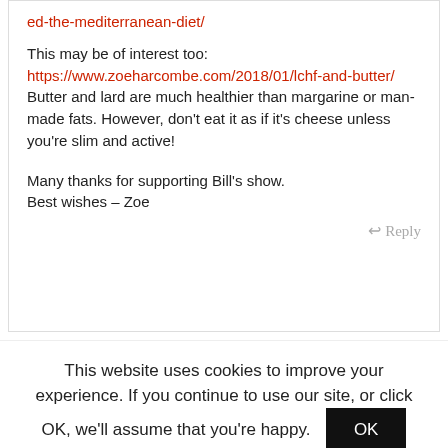ed-the-mediterranean-diet/
This may be of interest too:
https://www.zoeharcombe.com/2018/01/lchf-and-butter/
Butter and lard are much healthier than margarine or man-made fats. However, don't eat it as if it's cheese unless you're slim and active!

Many thanks for supporting Bill's show.
Best wishes – Zoe
Reply
This website uses cookies to improve your experience. If you continue to use our site, or click OK, we'll assume that you're happy.